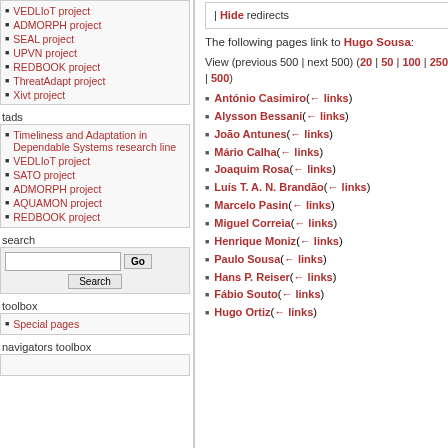VEDLIoT project
ADMORPH project
SEAL project
UPVN project
REDBOOK project
ThreatAdapt project
Xivt project
tads
Timeliness and Adaptation in Dependable Systems research line
VEDLIoT project
SATO project
ADMORPH project
AQUAMON project
REDBOOK project
search
toolbox
Special pages
navigators toolbox
| Hide redirects
The following pages link to Hugo Sousa:
View (previous 500 | next 500) (20 | 50 | 100 | 250 | 500)
António Casimiro (← links)
Alysson Bessani (← links)
João Antunes (← links)
Mário Calha (← links)
Joaquim Rosa (← links)
Luís T. A. N. Brandão (← links)
Marcelo Pasin (← links)
Miguel Correia (← links)
Henrique Moniz (← links)
Paulo Sousa (← links)
Hans P. Reiser (← links)
Fábio Souto (← links)
Hugo Ortiz (← links)